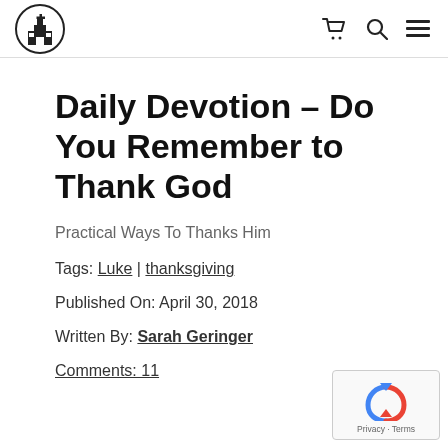[Church logo] [cart icon] [search icon] [menu icon]
Daily Devotion – Do You Remember to Thank God
Practical Ways To Thanks Him
Tags: Luke | thanksgiving
Published On: April 30, 2018
Written By: Sarah Geringer
Comments: 11